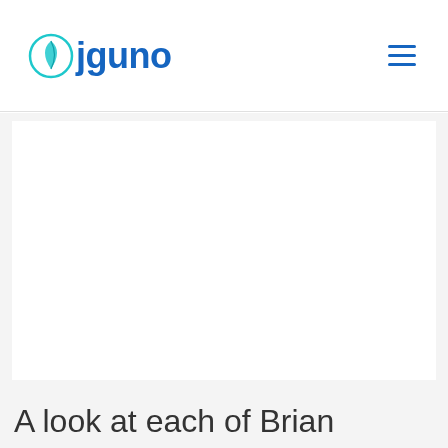ejguno
[Figure (screenshot): White rectangular image placeholder area]
A look at each of Brian